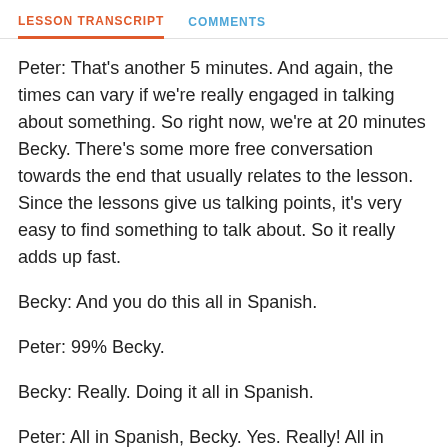LESSON TRANSCRIPT   COMMENTS
Peter: That's another 5 minutes. And again, the times can vary if we're really engaged in talking about something. So right now, we're at 20 minutes Becky. There's some more free conversation towards the end that usually relates to the lesson. Since the lessons give us talking points, it's very easy to find something to talk about. So it really adds up fast.
Becky: And you do this all in Spanish.
Peter: 99% Becky.
Becky: Really. Doing it all in Spanish.
Peter: All in Spanish, Becky. Yes. Really! All in Spanish! I'll slip in an English word here and there just to keep